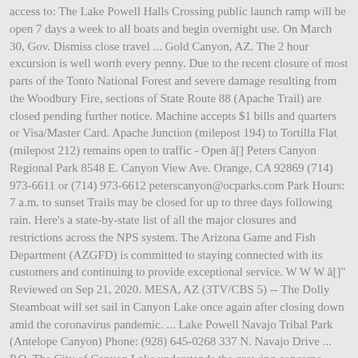access to: The Lake Powell Halls Crossing public launch ramp will be open 7 days a week to all boats and begin overnight use. On March 30, Gov. Dismiss close travel ... Gold Canyon, AZ. The 2 hour excursion is well worth every penny. Due to the recent closure of most parts of the Tonto National Forest and severe damage resulting from the Woodbury Fire, sections of State Route 88 (Apache Trail) are closed pending further notice. Machine accepts $1 bills and quarters or Visa/Master Card. Apache Junction (milepost 194) to Tortilla Flat (milepost 212) remains open to traffic - Open â[] Peters Canyon Regional Park 8548 E. Canyon View Ave. Orange, CA 92869 (714) 973-6611 or (714) 973-6612 peterscanyon@ocparks.com Park Hours: 7 a.m. to sunset Trails may be closed for up to three days following rain. Here's a state-by-state list of all the major closures and restrictions across the NPS system. The Arizona Game and Fish Department (AZGFD) is committed to staying connected with its customers and continuing to provide exceptional service. W W W â[]" Reviewed on Sep 21, 2020. MESA, AZ (3TV/CBS 5) -- The Dolly Steamboat will set sail in Canyon Lake once again after closing down amid the coronavirus pandemic. ... Lake Powell Navajo Tribal Park (Antelope Canyon) Phone: (928) 645-0268 337 N. Navajo Drive ... P.O. The City of Canyon Lake understands the growing concerns surrounding the Novel Coronavirus (COVID-19) pandemic and wants to assure you that